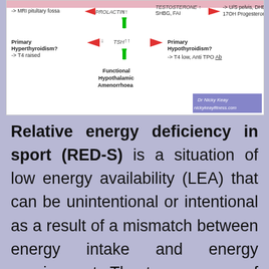[Figure (flowchart): Medical diagram showing hormonal pathways related to amenorrhoea, hyperthyroidism, hypothyroidism, and functional hypothalamic amenorrhoea, with TSH, prolactin, testosterone arrows and clinical investigation guidance. Credit: Dr Nicky Keay, nickykea yfitness.com]
Relative energy deficiency in sport (RED-S) is a situation of low energy availability (LEA) that can be unintentional or intentional as a result of a mismatch between energy intake and energy requirement. The two sources of energy demand arise from exercise training load and